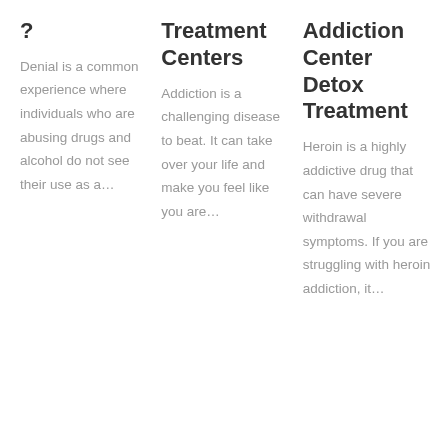?
Denial is a common experience where individuals who are abusing drugs and alcohol do not see their use as a…
Treatment Centers
Addiction is a challenging disease to beat. It can take over your life and make you feel like you are…
Addiction Center Detox Treatment
Heroin is a highly addictive drug that can have severe withdrawal symptoms. If you are struggling with heroin addiction, it…